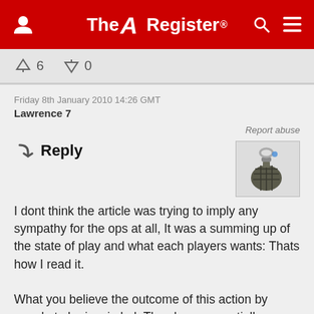The Register
↑6  ↓0
Friday 8th January 2010 14:26 GMT
Lawrence 7
Report abuse
Reply
[Figure (illustration): Grenade icon image]
I dont think the article was trying to imply any sympathy for the ops at all, It was a summing up of the state of play and what each players wants: Thats how I read it.

What you believe the outcome of this action by google to be is mis-led: They have essentially sucked in a large number of equipment manufacturers + Operators with a solid gold promise of 'hey, look what I got over here, Its the solution to all your development woes, and guess